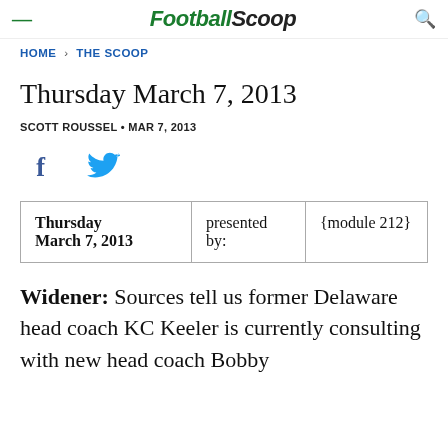FootballScoop
HOME › THE SCOOP
Thursday March 7, 2013
SCOTT ROUSSEL • MAR 7, 2013
[Figure (other): Social sharing icons: Facebook and Twitter]
| Thursday March 7, 2013 | presented by: | {module 212} |
Widener: Sources tell us former Delaware head coach KC Keeler is currently consulting with new head coach Bobby